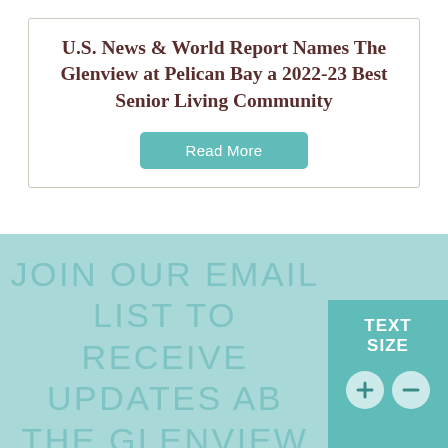U.S. News & World Report Names The Glenview at Pelican Bay a 2022-23 Best Senior Living Community
Read More
JOIN OUR EMAIL LIST TO RECEIVE UPDATES ABOUT THE GLENVIEW
TEXT SIZE